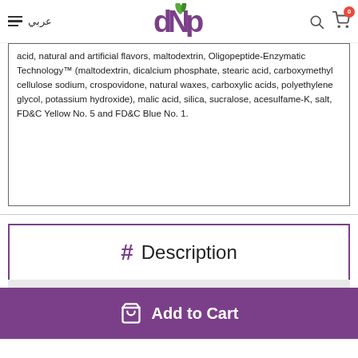DNP — عربي — search — cart (0)
acid, natural and artificial flavors, maltodextrin, Oligopeptide-Enzymatic Technology™ (maltodextrin, dicalcium phosphate, stearic acid, carboxymethyl cellulose sodium, crospovidone, natural waxes, carboxylic acids, polyethylene glycol, potassium hydroxide), malic acid, silica, sucralose, acesulfame-K, salt, FD&C Yellow No. 5 and FD&C Blue No. 1.
# Description
Home  Categories  Stacks  Brands  Account